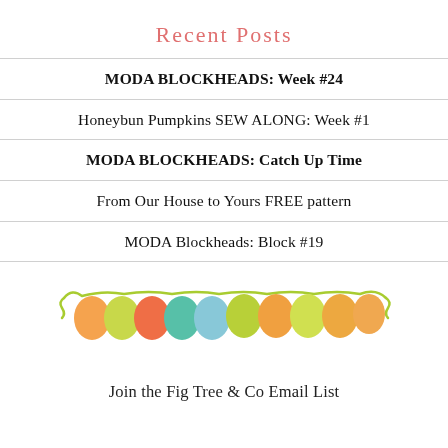Recent Posts
MODA BLOCKHEADS: Week #24
Honeybun Pumpkins SEW ALONG: Week #1
MODA BLOCKHEADS: Catch Up Time
From Our House to Yours FREE pattern
MODA Blockheads: Block #19
[Figure (illustration): Colorful bunting/banner decoration with semicircular flags in orange, yellow-green, red-orange, teal, light blue, yellow-green, orange colors, hung on a wavy lime green string/rope]
Join the Fig Tree & Co Email List